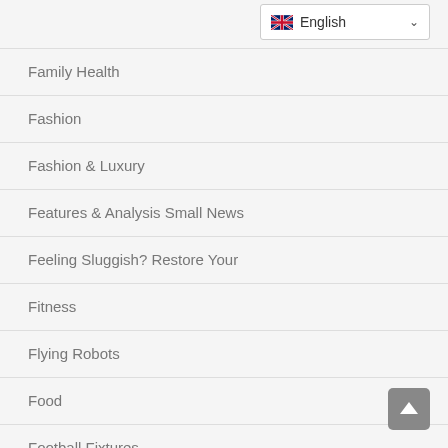[Figure (screenshot): Language selector dropdown showing UK flag and 'English' with chevron]
Family Health
Fashion
Fashion & Luxury
Features & Analysis Small News
Feeling Sluggish? Restore Your
Fitness
Flying Robots
Food
Football Fixtures
Football Live